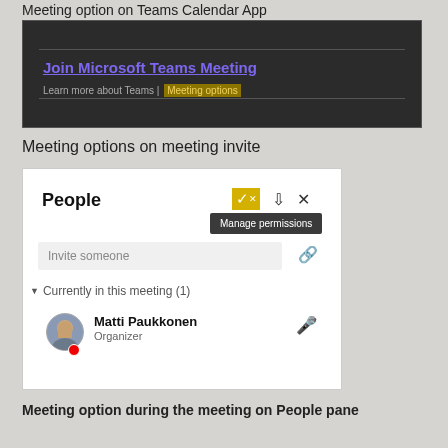Meeting option on Teams Calendar App
[Figure (screenshot): Dark-themed Microsoft Teams meeting invite showing 'Join Microsoft Teams Meeting' link and 'Meeting options' highlighted in yellow]
Meeting options on meeting invite
[Figure (screenshot): Microsoft Teams People pane showing 'Manage permissions' tooltip, 'Invite someone' field, 'Currently in this meeting (1)' with Matti Paukkonen as Organizer]
Meeting option during the meeting on People pane